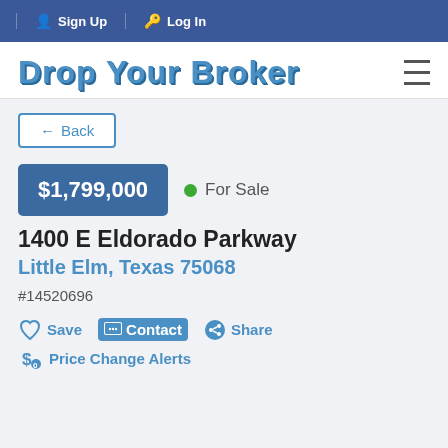Sign Up  Log In
Drop Your Broker
← Back
$1,799,000  ● For Sale
1400 E Eldorado Parkway
Little Elm, Texas 75068
#14520696
♡ Save  ⬛ Contact  ●< Share
$₀ Price Change Alerts